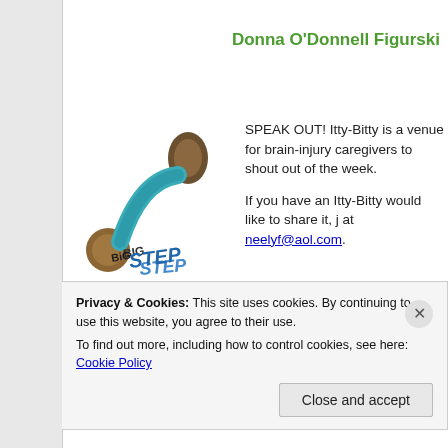Donna O'Donnell Figurski
[Figure (logo): Big Step logo — illustrated slingshot/dumbbell shape in teal with brown handles, and 'BIG STEP' text in blue]
SPEAK OUT! Itty-Bitty is a venue for brain-injury caregivers to shout out of the week.

If you have an Itty-Bitty would like to share it, j at neelyf@aol.com.
If you are on Facebook, you can simply send a Private M
Privacy & Cookies: This site uses cookies. By continuing to use this website, you agree to their use.
To find out more, including how to control cookies, see here: Cookie Policy
Close and accept